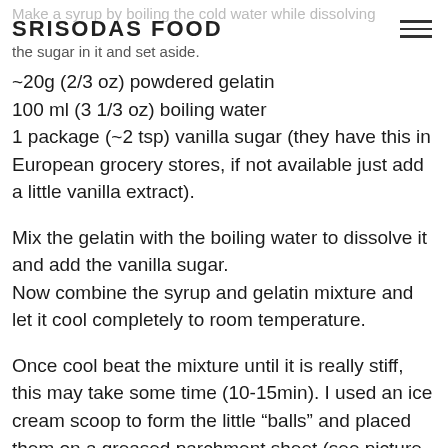Make a syrup by boiling the cold water while dissolving the sugar in it and set aside.
SRISODAS FOOD
~20g (2/3 oz) powdered gelatin
100 ml (3 1/3 oz) boiling water
1 package (~2 tsp) vanilla sugar (they have this in European grocery stores, if not available just add a little vanilla extract).
Mix the gelatin with the boiling water to dissolve it and add the vanilla sugar.
Now combine the syrup and gelatin mixture and let it cool completely to room temperature.
Once cool beat the mixture until it is really stiff, this may take some time (10-15min). I used an ice cream scoop to form the little “balls” and placed them on a greased parchment sheet (see picture below). Let the “ball” rest for about 30 min.